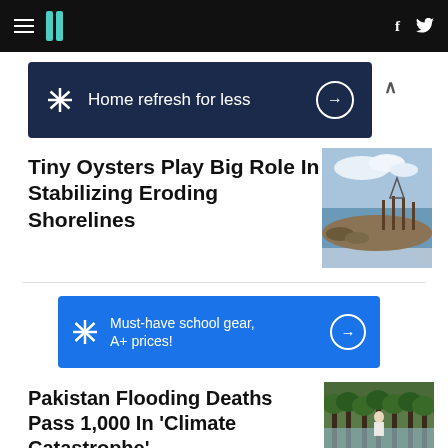HuffPost navigation bar with hamburger menu, logo, Facebook and Twitter icons
[Figure (infographic): Walmart ad banner - dark navy blue: Walmart spark icon, 'Home refresh for less' text with arrow circle button, collapse chevron]
Tiny Oysters Play Big Role In Stabilizing Eroding Shorelines
[Figure (photo): Coastal shoreline scene with wooden stakes in shallow water and oyster beds at shore edge under cloudy sky]
[Figure (infographic): Walmart ad banner - bright blue: Walmart spark icon, 'Must-have school gear, A+ prices!' text with arrow circle button]
Pakistan Flooding Deaths Pass 1,000 In 'Climate Catastrophe'
[Figure (photo): Person wading through floodwater among trees]